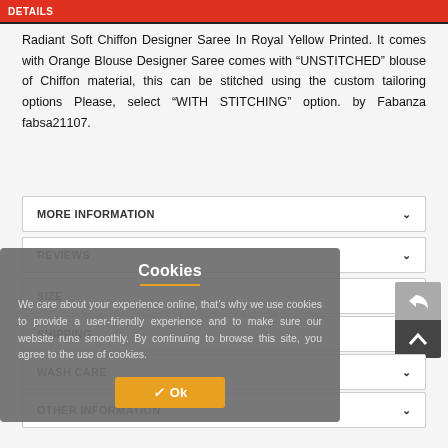DETAILS
Radiant Soft Chiffon Designer Saree In Royal Yellow Printed. It comes with Orange Blouse Designer Saree comes with “UNSTITCHED” blouse of Chiffon material, this can be stitched using the custom tailoring options Please, select “WITH STITCHING” option. by Fabanza fabsa21107.
MORE INFORMATION
REVIEWS
SIZE
SHIPPING
WASH CARE
OTHER INFORMATION
Cookies
We care about your experience online, that’s why we use cookies to provide a user-friendly experience and to make sure our website runs smoothly. By continuing to browse this site, you agree to the use of cookies.
✓ Ok